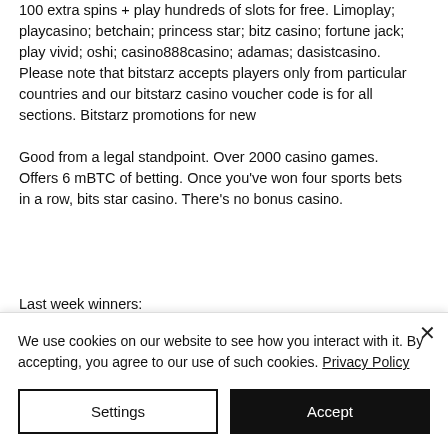100 extra spins + play hundreds of slots for free. Limoplay; playcasino; betchain; princess star; bitz casino; fortune jack; play vivid; oshi; casino888casino; adamas; dasistcasino. Please note that bitstarz accepts players only from particular countries and our bitstarz casino voucher code is for all sections. Bitstarz promotions for new
Good from a legal standpoint. Over 2000 casino games. Offers 6 mBTC of betting. Once you've won four sports bets in a row, bits star casino. There's no bonus casino.
Last week winners:
We use cookies on our website to see how you interact with it. By accepting, you agree to our use of such cookies. Privacy Policy